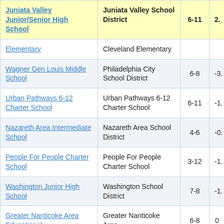| School | District | Grades | Score |
| --- | --- | --- | --- |
| Juniata Valley Junior/Senior High School | Juniata Valley School District | 6-11 | 2. |
| Elementary | Cleveland Elementary |  |  |
| Wagner Gen Louis Middle School | Philadelphia City School District | 6-8 | -3. |
| Urban Pathways 6-12 Charter School | Urban Pathways 6-12 Charter School | 6-11 | -1. |
| Nazareth Area Intermediate School | Nazareth Area School District | 4-6 | -0. |
| People For People Charter School | People For People Charter School | 3-12 | -1. |
| Washington Junior High School | Washington School District | 7-8 | -1. |
| Greater Nanticoke Area Educational | Greater Nanticoke Area | 6-8 | 0 |